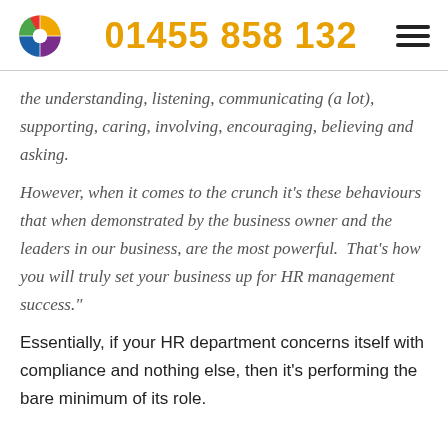01455 858 132
the understanding, listening, communicating (a lot), supporting, caring, involving, encouraging, believing and asking.
However, when it comes to the crunch it's these behaviours that when demonstrated by the business owner and the leaders in our business, are the most powerful. That's how you will truly set your business up for HR management success."
Essentially, if your HR department concerns itself with compliance and nothing else, then it's performing the bare minimum of its role.